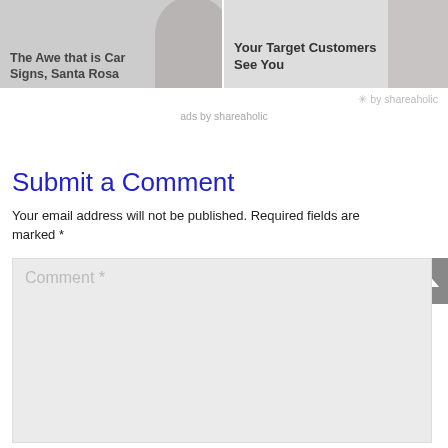[Figure (screenshot): Two article preview cards side by side. Left card shows text 'The Awe that is Car Signs, Santa Rosa' over a grey background with a partial face image. Right card shows text 'Your Target Customers See You' over a light grey background.]
✳ by shareaholic
ads by shareaholic
Submit a Comment
Your email address will not be published. Required fields are marked *
Comment *